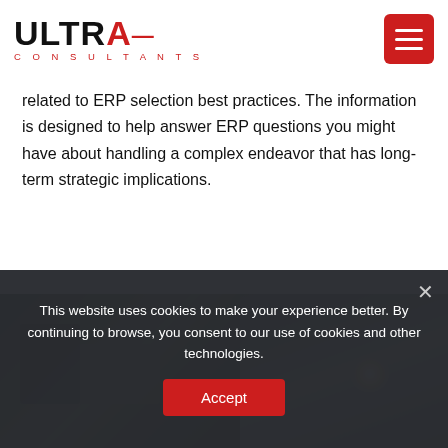[Figure (logo): Ultra Consultants logo — black sans-serif 'ULTRA' with red accent mark, red spaced 'CONSULTANTS' subtitle]
related to ERP selection best practices. The information is designed to help answer ERP questions you might have about handling a complex endeavor that has long-term strategic implications.
[Figure (photo): Wide-angle composite photo of an industrial manufacturing facility interior — left panel shows heavy machinery and equipment in a green-toned warehouse; right panel shows a large concrete or stone interior space with a bright light source]
This website uses cookies to make your experience better. By continuing to browse, you consent to our use of cookies and other technologies.
Accept